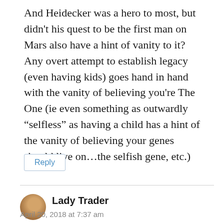And Heidecker was a hero to most, but didn't his quest to be the first man on Mars also have a hint of vanity to it? Any overt attempt to establish legacy (even having kids) goes hand in hand with the vanity of believing you're The One (ie even something as outwardly “selfless” as having a child has a hint of the vanity of believing your genes should live on…the selfish gene, etc.)
Reply
Lady Trader
April 20, 2018 at 7:37 am